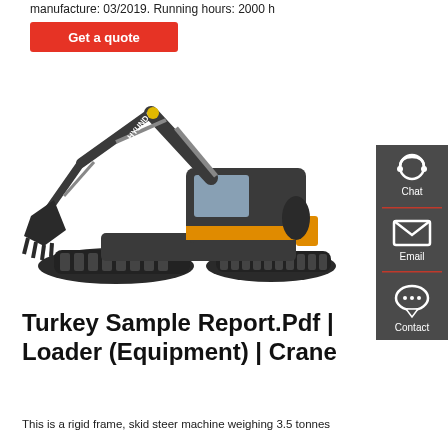manufacture: 03/2019. Running hours: 2000 h
Get a quote
[Figure (photo): Hyundai excavator/crawler machine on white background]
[Figure (infographic): Sidebar with Chat, Email, and Contact icons on dark grey background]
Turkey Sample Report.Pdf | Loader (Equipment) | Crane
This is a rigid frame, skid steer machine weighing 3.5 tonnes